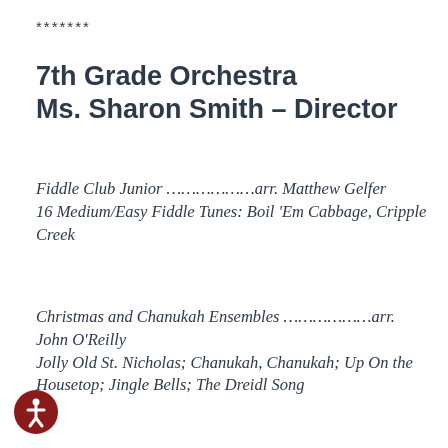*******
7th Grade Orchestra
Ms. Sharon Smith – Director
Fiddle Club Junior ………………arr. Matthew Gelfer
16 Medium/Easy Fiddle Tunes: Boil 'Em Cabbage, Cripple Creek
Christmas and Chanukah Ensembles ………………arr. John O'Reilly
Jolly Old St. Nicholas; Chanukah, Chanukah; Up On the Housetop; Jingle Bells; The Dreidl Song